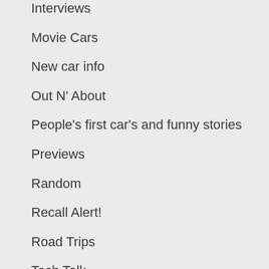Interviews
Movie Cars
New car info
Out N' About
People's first car's and funny stories
Previews
Random
Recall Alert!
Road Trips
Tech Talk
The auto dictionary. Look it up here!
The Car Forum
The History of Autos